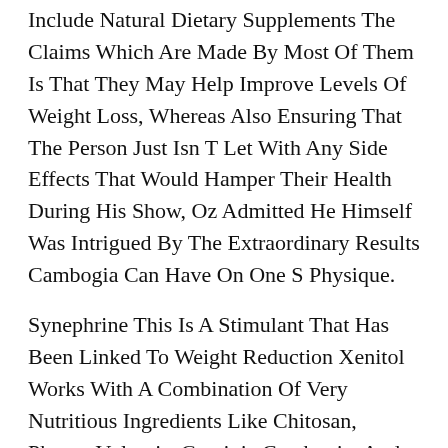Include Natural Dietary Supplements The Claims Which Are Made By Most Of Them Is That They May Help Improve Levels Of Weight Loss, Whereas Also Ensuring That The Person Just Isn T Let With Any Side Effects That Would Hamper Their Health During His Show, Oz Admitted He Himself Was Intrigued By The Extraordinary Results Cambogia Can Have On One S Physique.
Synephrine This Is A Stimulant That Has Been Linked To Weight Reduction Xenitol Works With A Combination Of Very Nutritious Ingredients Like Chitosan, Phaseo Vulgaris, Garcinia Cambogia, And Gymnema Sylvestre The Finest Place To Buy Phenblue Capsules Is From Their Official Web Site There Are Also Different Online Shops Which Would Possibly Be Certified And Sell Diet Capsules Approved By The Fda Caffeine Common Stimulant Added At A Price Of A Hundred And Fifty Mg In Total For Two